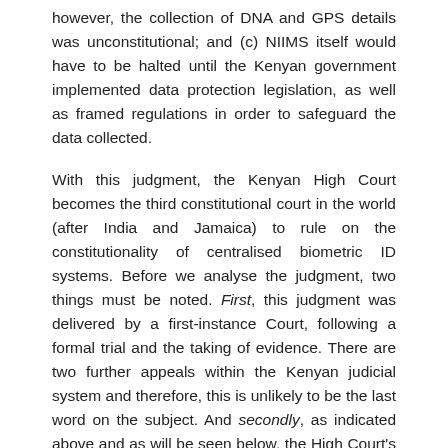however, the collection of DNA and GPS details was unconstitutional; and (c) NIIMS itself would have to be halted until the Kenyan government implemented data protection legislation, as well as framed regulations in order to safeguard the data collected.
With this judgment, the Kenyan High Court becomes the third constitutional court in the world (after India and Jamaica) to rule on the constitutionality of centralised biometric ID systems. Before we analyse the judgment, two things must be noted. First, this judgment was delivered by a first-instance Court, following a formal trial and the taking of evidence. There are two further appeals within the Kenyan judicial system and therefore, this is unlikely to be the last word on the subject. And secondly, as indicated above and as will be seen below, the High Court's decision – at least in part – is a conditional